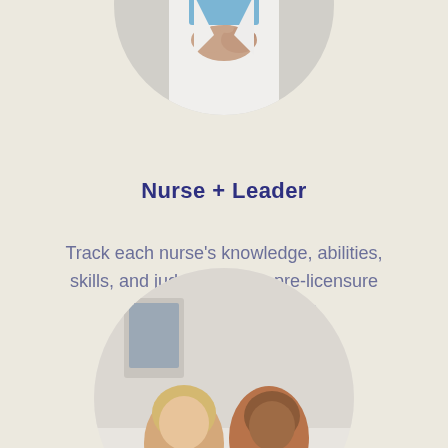[Figure (photo): Circular cropped photo of a nurse/healthcare professional with hands clasped, wearing white coat, visible from torso, partially cropped at top of page]
Nurse + Leader
Track each nurse's knowledge, abilities, skills, and judgment from pre-licensure through post-residency
[Figure (photo): Circular cropped photo of two healthcare professionals, one with blonde hair and one bald, appearing to consult together, partially cropped at bottom of page]